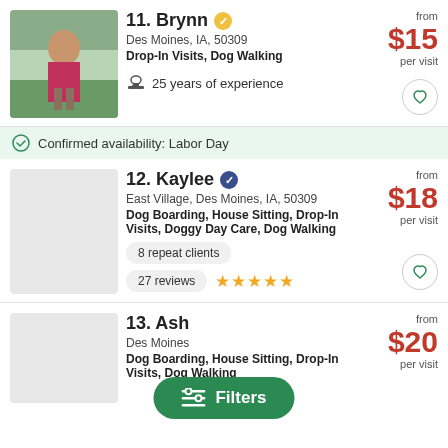11. Brynn — Des Moines, IA, 50309 — Drop-In Visits, Dog Walking — 25 years of experience — from $15 per visit
12. Kaylee — East Village, Des Moines, IA, 50309 — Dog Boarding, House Sitting, Drop-In Visits, Doggy Day Care, Dog Walking — 8 repeat clients — 27 reviews — from $18 per visit
13. Ash... — Des Moines... — Dog Boarding, House Sitting, Drop-In Visits, Dog Walking — from $20 per visit